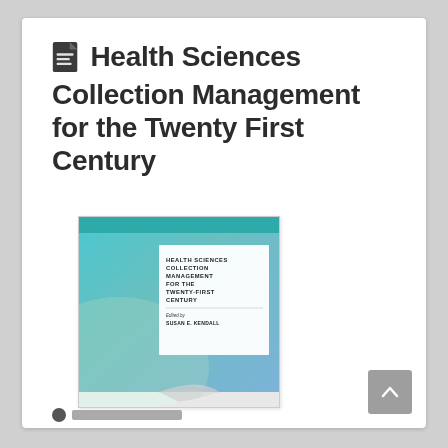Health Sciences Collection Management for the Twenty First Century
[Figure (illustration): Book cover of 'Health Sciences Collection Management for the Twenty First Century', edited by Susan E. Kendall. The cover has a teal/blue gradient background with a white rectangular label in the upper portion showing the title and editor's name in small caps text.]